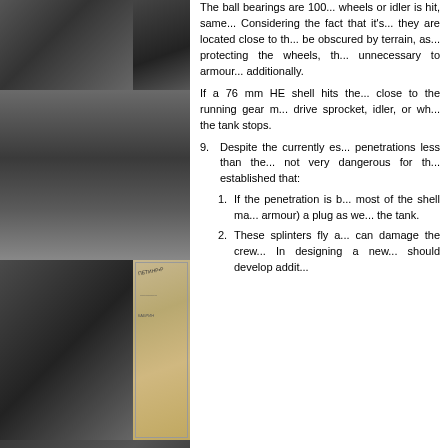[Figure (photo): Collage of WWII-era black and white photographs showing tanks and soldiers, and a map]
The ball bearings are... wheels or idler is hit, same... Considering the fact that it's... they are located close to th... be obscured by terrain, as... protecting the wheels, th... unnecessary to armour... additionally.
If a 76 mm HE shell hits the... close to the running gear m... drive sprocket, idler, or wh... the tank stops.
9. Despite the currently es... penetrations less than the... not very dangerous for th... established that:
1. If the penetration is b... most of the shell ma... armour) a plug as we... the tank.
2. These splinters fly a... can damage the cre... In designing a new... should develop addit...